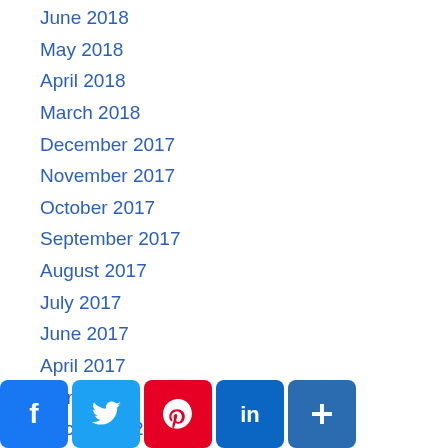June 2018
May 2018
April 2018
March 2018
December 2017
November 2017
October 2017
September 2017
August 2017
July 2017
June 2017
April 2017
March 2017
December 2016
November 2016
October 2016
September 2016
[Figure (infographic): Social sharing buttons: Facebook, Twitter, Pinterest, LinkedIn, and a plus/more button]